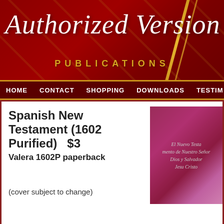[Figure (logo): Authorized Version Publications banner with dark red background, cursive script logo text, and golden diagonal accent lines]
HOME  CONTACT  SHOPPING  DOWNLOADS  TESTIM
Spanish New Testament (1602 Purified)    $3
Valera 1602P paperback
[Figure (photo): Book cover for Spanish New Testament, purple/maroon glittery cover with text: El Nuevo Testamento de Nuestro Señor Dios y Salvador Jesu Cristo]
Click to enlarge
(cover subject to change)
This product was added to our catalog on Thursday 24 May, 2007.
Add to Cart
Customers who bought this product also purchased